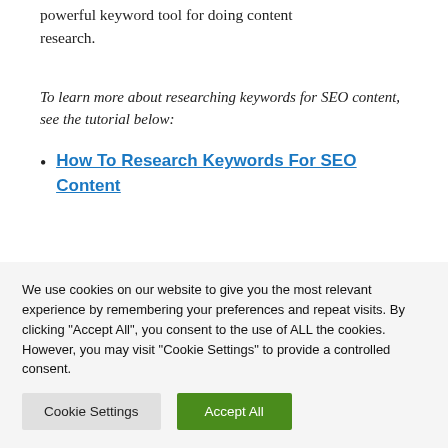powerful keyword tool for doing content research.
To learn more about researching keywords for SEO content, see the tutorial below:
How To Research Keywords For SEO Content
We use cookies on our website to give you the most relevant experience by remembering your preferences and repeat visits. By clicking "Accept All", you consent to the use of ALL the cookies. However, you may visit "Cookie Settings" to provide a controlled consent.